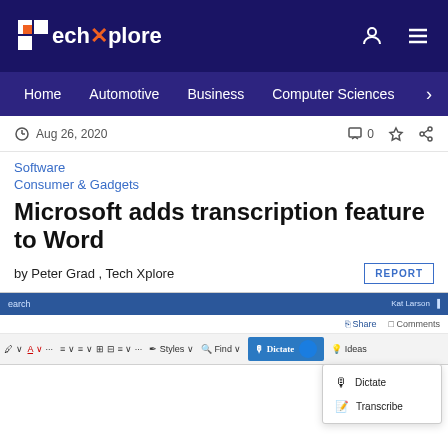Tech Xplore
Home | Automotive | Business | Computer Sciences
Aug 26, 2020
Software
Consumer & Gadgets
Microsoft adds transcription feature to Word
by Peter Grad , Tech Xplore
[Figure (screenshot): Microsoft Word interface showing the Dictate dropdown menu with 'Dictate' and 'Transcribe' options, and partial text 'crosoft is infusing AI into' visible in the document area]
crosoft is infusing AI into